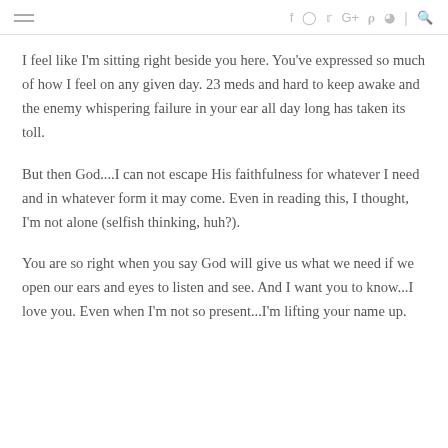≡  f  ⊙  𝕥  G+  𝒑  ⌂  |  🔍
I feel like I'm sitting right beside you here. You've expressed so much of how I feel on any given day. 23 meds and hard to keep awake and the enemy whispering failure in your ear all day long has taken its toll.
But then God....I can not escape His faithfulness for whatever I need and in whatever form it may come. Even in reading this, I thought, I'm not alone (selfish thinking, huh?).
You are so right when you say God will give us what we need if we open our ears and eyes to listen and see. And I want you to know...I love you. Even when I'm not so present...I'm lifting your name up.